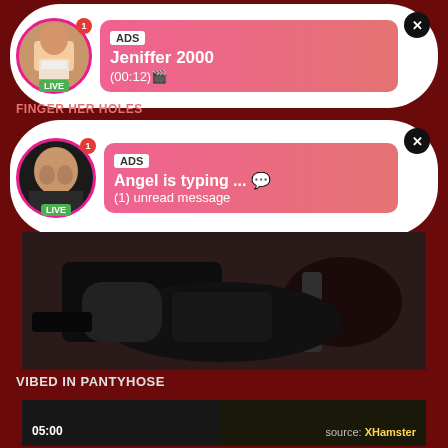[Figure (screenshot): Ad card 1: Profile avatar with LIVE badge, ADS label, name Jeniffer 2000, duration (00:12)]
FINGER HER HOLES
[Figure (screenshot): Ad card 2: Profile avatar with LIVE badge, ADS label, Angel is typing ... (1) unread message]
[Figure (photo): Video thumbnail of a woman in black lingerie on a table]
VIBED IN PANTYHOSE
[Figure (screenshot): Video thumbnail with time 05:00 and source: XHamster label]